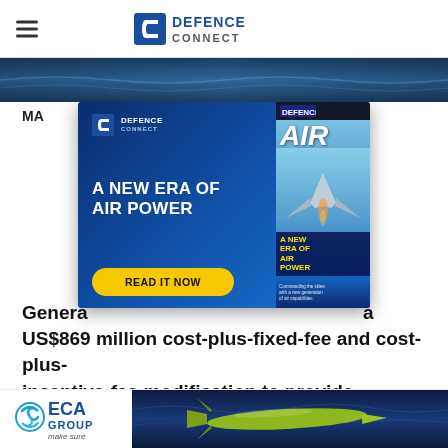DEFENCE CONNECT
[Figure (screenshot): Ocean/sea horizon image strip]
[Figure (infographic): Defence Connect advertisement: A New Era of Air Power - Read It Now, with magazine cover showing AIR publication]
General... ...ed a US$869 million cost-plus-fixed-fee and cost-plus-incentive-fee modification to provide continued design completion, engineering work, affordability studie... ...mbia Class f...
[Figure (logo): ECA Group - make sure logo, with torpedo/underwater vehicle image]